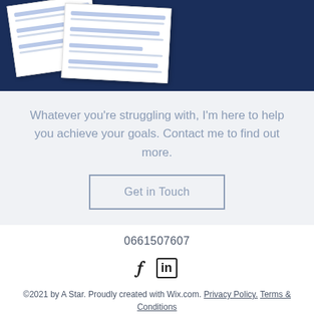[Figure (illustration): Dark navy blue background with two overlapping white paper/worksheet documents shown at angles, suggesting coaching or assessment worksheets with colored bar lines on them.]
Whatever you're struggling with, I'm here to help you achieve your goals. Contact me to find out more.
Get in Touch
0661507607
[Figure (other): Social media icons: Facebook (f) and LinkedIn (in)]
©2021 by A Star. Proudly created with Wix.com. Privacy Policy. Terms & Conditions